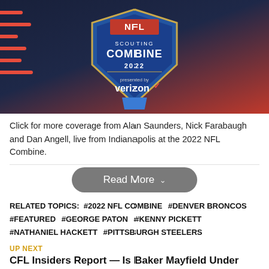[Figure (photo): NFL Scouting Combine 2022 logo presented by Verizon on dark background with red accent]
Click for more coverage from Alan Saunders, Nick Farabaugh and Dan Angell, live from Indianapolis at the 2022 NFL Combine.
Read More
RELATED TOPICS: #2022 NFL COMBINE #DENVER BRONCOS #FEATURED #GEORGE PATON #KENNY PICKETT #NATHANIEL HACKETT #PITTSBURGH STEELERS
UP NEXT
CFL Insiders Report — Is Baker Mayfield Under Pressure...